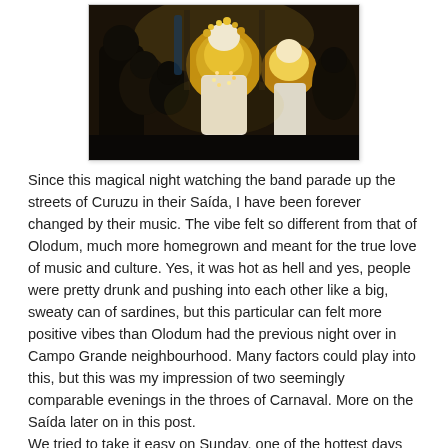[Figure (photo): A photo of carnival performers in colorful yellow and white costumes with elaborate headpieces, parading through dark streets at night, crowd visible in background.]
Since this magical night watching the band parade up the streets of Curuzu in their Saída, I have been forever changed by their music. The vibe felt so different from that of Olodum, much more homegrown and meant for the true love of music and culture. Yes, it was hot as hell and yes, people were pretty drunk and pushing into each other like a big, sweaty can of sardines, but this particular can felt more positive vibes than Olodum had the previous night over in Campo Grande neighbourhood. Many factors could play into this, but this was my impression of two seemingly comparable evenings in the throes of Carnaval. More on the Saída later on in this post.
We tried to take it easy on Sunday, one of the hottest days yet. The streets of Pelourinho were filled with blue-and-white flags of followers of the Filhos de Gandhi (Sons of...